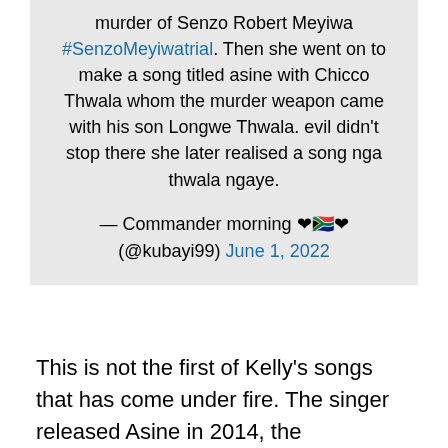murder of Senzo Robert Meyiwa #SenzoMeyiwatrial. Then she went on to make a song titled asine with Chicco Thwala whom the murder weapon came with his son Longwe Thwala. evil didn't stop there she later realised a song nga thwala ngaye.
— Commander morning ❤🇿🇦❤ (@kubayi99) June 1, 2022
This is not the first of Kelly's songs that has come under fire. The singer released Asine in 2014, the